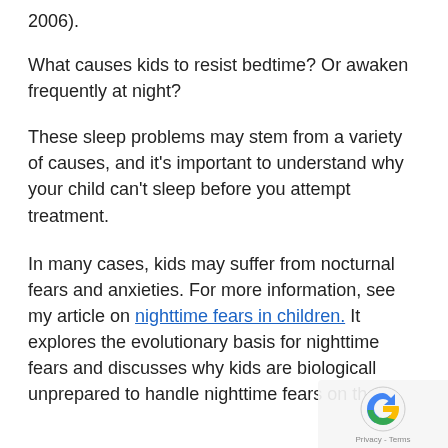2006).
What causes kids to resist bedtime? Or awaken frequently at night?
These sleep problems may stem from a variety of causes, and it's important to understand why your child can't sleep before you attempt treatment.
In many cases, kids may suffer from nocturnal fears and anxieties. For more information, see my article on nighttime fears in children. It explores the evolutionary basis for nighttime fears and discusses why kids are biologically unprepared to handle nighttime fears on the...